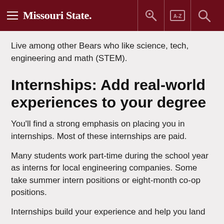Missouri State
Live among other Bears who like science, tech, engineering and math (STEM).
Internships: Add real-world experiences to your degree
You'll find a strong emphasis on placing you in internships. Most of these internships are paid.
Many students work part-time during the school year as interns for local engineering companies. Some take summer intern positions or eight-month co-op positions.
Internships build your experience and help you land